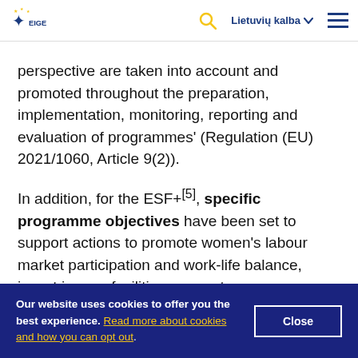EIGE — Lietuvių kalba
perspective are taken into account and promoted throughout the preparation, implementation, monitoring, reporting and evaluation of programmes' (Regulation (EU) 2021/1060, Article 9(2)).
In addition, for the ESF+[5], specific programme objectives have been set to support actions to promote women's labour market participation and work-life balance, invest in care facilities, support
Our website uses cookies to offer you the best experience. Read more about cookies and how you can opt out.